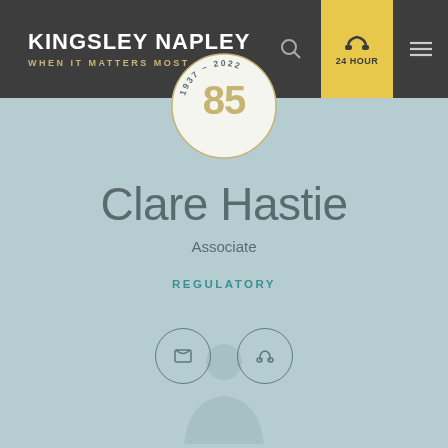KINGSLEY NAPLEY — WHEN IT MATTERS MOST — 24 HOUR
[Figure (logo): Kingsley Napley 85th anniversary badge (1937-2022) circular gold logo]
Clare Hastie
Associate
REGULATORY
[Figure (illustration): Two circular contact icon buttons: phone icon and email/envelope icon]
[Figure (illustration): Faded person silhouette at bottom of page]